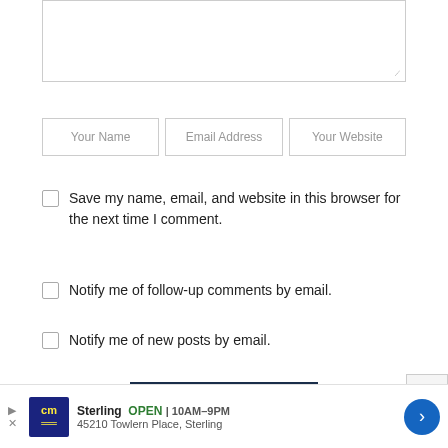[Figure (screenshot): Comment textarea input field with resize handle at bottom right]
Your Name | Email Address | Your Website
Save my name, email, and website in this browser for the next time I comment.
Notify me of follow-up comments by email.
Notify me of new posts by email.
[Figure (screenshot): Ad bar: cm logo, Sterling OPEN 10AM-9PM, 45210 Towlern Place Sterling, navigation arrow button]